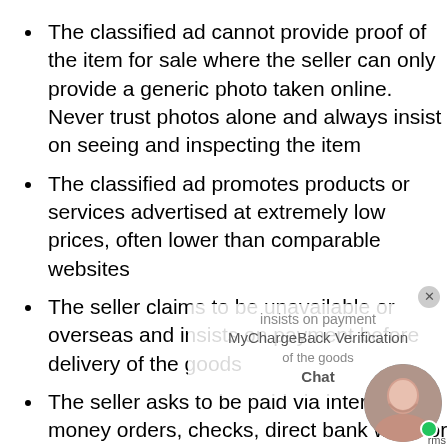The classified ad cannot provide proof of the item for sale where the seller can only provide a generic photo taken online. Never trust photos alone and always insist on seeing and inspecting the item
The classified ad promotes products or services advertised at extremely low prices, often lower than comparable websites
The seller claims to be unavailable or overseas and insists on payment before delivery of the goods
The seller asks to be paid via international money orders, checks, direct bank wires or cryptocurrency and will not accept any other form